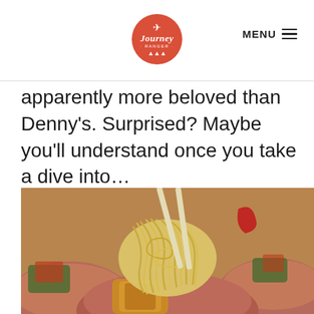Journey Ranger — MENU
apparently more beloved than Denny's. Surprised? Maybe you'll understand once you take a dive into…
[Figure (photo): Close-up photo of noodles being lifted with chopsticks from a bowl, with multiple bowls of Asian food visible in the background]